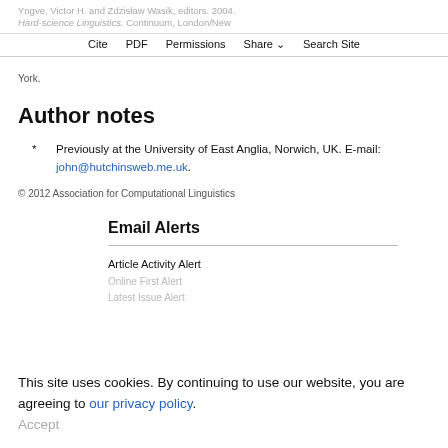Yngve, Victor H. and Zdzisław Wasik, editors. 2004. Hard-science Linguistics. Continuum, London/New York. | Cite | PDF | Permissions | Share | Search Site
York.
Author notes
* Previously at the University of East Anglia, Norwich, UK. E-mail: john@hutchinsweb.me.uk.
© 2012 Association for Computational Linguistics
Email Alerts
Article Activity Alert
This site uses cookies. By continuing to use our website, you are agreeing to our privacy policy. Accept